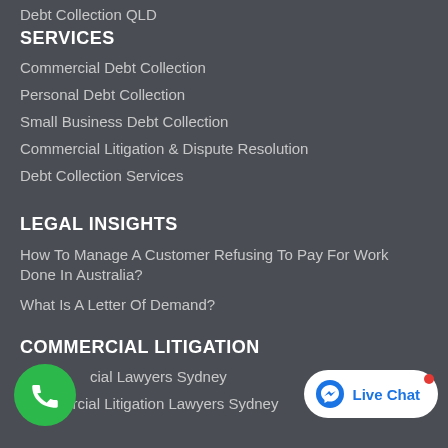Debt Collection QLD
SERVICES
Commercial Debt Collection
Personal Debt Collection
Small Business Debt Collection
Commercial Litigation & Dispute Resolution
Debt Collection Services
LEGAL INSIGHTS
How To Manage A Customer Refusing To Pay For Work Done In Australia?
What Is A Letter Of Demand?
COMMERCIAL LITIGATION
Commercial Lawyers Sydney
Commercial Litigation Lawyers Sydney